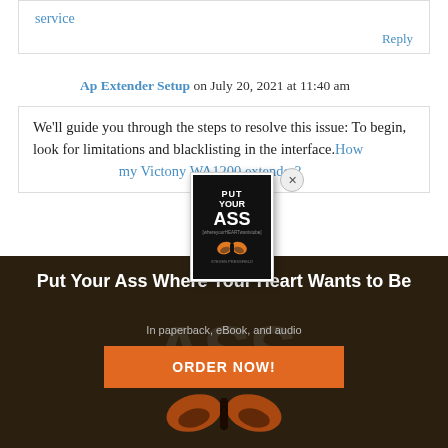service
Reply
Ap Extender Setup on July 20, 2021 at 11:40 am
We'll guide you through the steps to resolve this issue: To begin, look for limitations and blacklisting in the interface. How... my Victony WA1200 extender?
[Figure (illustration): Book cover popup for 'Put Your Ass Where Your Heart Wants to Be' with close button]
[Figure (photo): Dark background promotional banner with large text and butterfly image]
Put Your Ass Where Your Heart Wants to Be
In paperback, eBook, and audio
ORDER NOW!